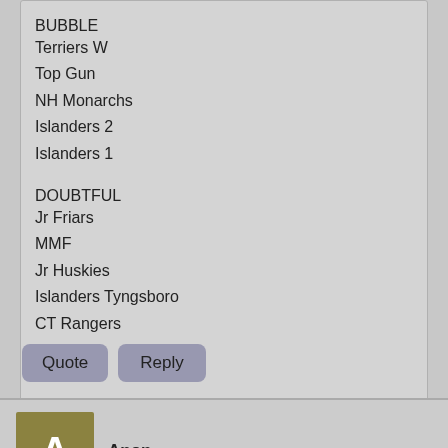BUBBLE
Terriers W
Top Gun
NH Monarchs
Islanders 2
Islanders 1
DOUBTFUL
Jr Friars
MMF
Jr Huskies
Islanders Tyngsboro
CT Rangers
Quote  Reply
Anon
Re: EHF Black Parity Schedule is up for 05 and 06